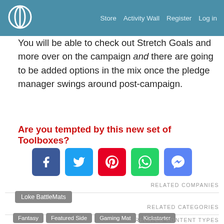Store  Activity Wall  Register  Log in
You will be able to check out Stretch Goals and more over on the campaign and there are going to be added options in the mix once the pledge manager swings around post-campaign.
Are you tempted by this new set of Toolboxes?
[Figure (infographic): Social share buttons: Facebook, Twitter, Pinterest, WhatsApp, Messenger]
RELATED COMPANIES
Loke BattleMats
RELATED CATEGORIES
Fantasy  Featured Side  Gaming Mat  Kickstarter  Loke BattleMats
RELATED CONTENT TYPES